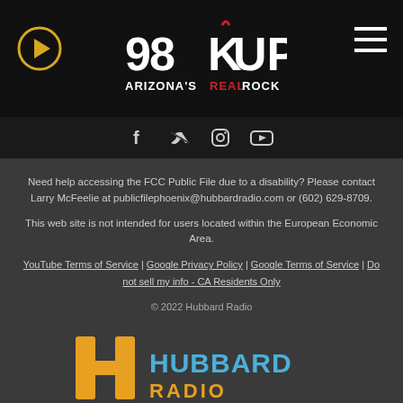[Figure (logo): 98KUPD Arizona's Real Rock radio station logo in white and red on black background, with play button icon on left and hamburger menu on right]
[Figure (logo): Social media icons: Facebook, Twitter, Instagram, YouTube on dark bar]
Need help accessing the FCC Public File due to a disability? Please contact Larry McFeelie at publicfilephoenix@hubbardradio.com or (602) 629-8709.
This web site is not intended for users located within the European Economic Area.
YouTube Terms of Service | Google Privacy Policy | Google Terms of Service | Do not sell my info - CA Residents Only
© 2022 Hubbard Radio
[Figure (logo): Hubbard Radio logo with orange H icon and blue/orange text]